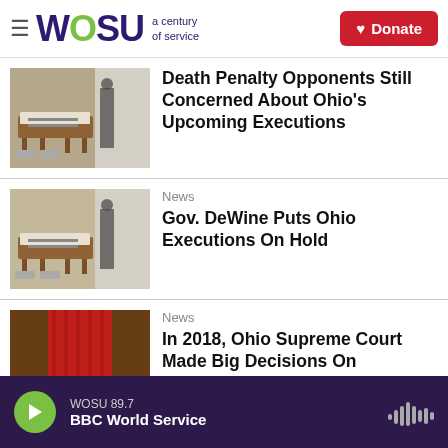WOSU a century of service | Donate
Death Penalty Opponents Still Concerned About Ohio's Upcoming Executions
News
Gov. DeWine Puts Ohio Executions On Hold
News
In 2018, Ohio Supreme Court Made Big Decisions On Abortion, Death Penalty
WOSU 89.7
BBC World Service